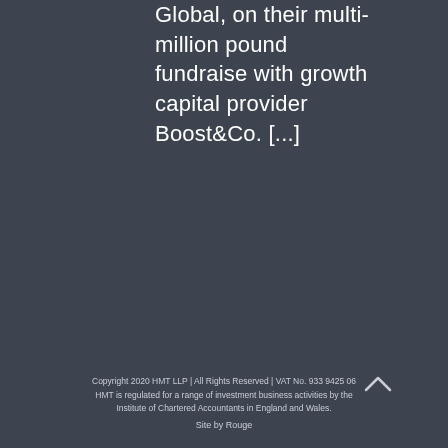Global, on their multi-million pound fundraise with growth capital provider Boost&Co. [...]
Copyright 2020 HMT LLP | All Rights Reserved | VAT No. 933 9425 06 HMT is regulated for a range of investment business activities by the Institute of Chartered Accountants in England and Wales. Site by Rouge